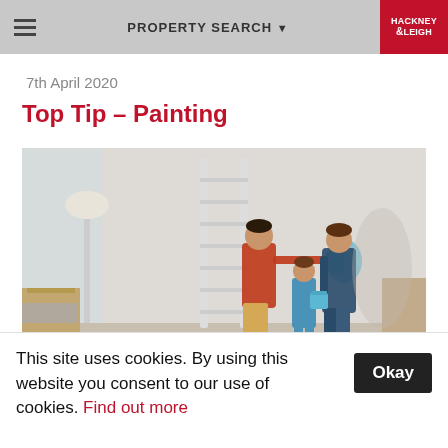PROPERTY SEARCH ▾  |  HACKNEY & LEIGH
7th April 2020
Top Tip – Painting
[Figure (photo): A family of three — a man in a red plaid shirt, a child in a blue outfit, and a woman in a dark plaid shirt — painting a white wall with blue paint and rollers. A ladder and cardboard boxes are visible in the background.]
This site uses cookies. By using this website you consent to our use of cookies. Find out more  [Okay]